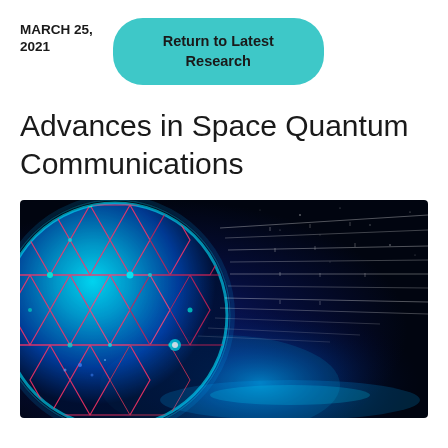MARCH 25, 2021
Return to Latest Research
Advances in Space Quantum Communications
[Figure (illustration): Digital illustration of Earth from space overlaid with glowing blue hexagonal network grid and red hexagonal outlines, with white streaming data lines emanating from the planet toward the right, against a dark space background with blue light glow effects representing quantum communications.]